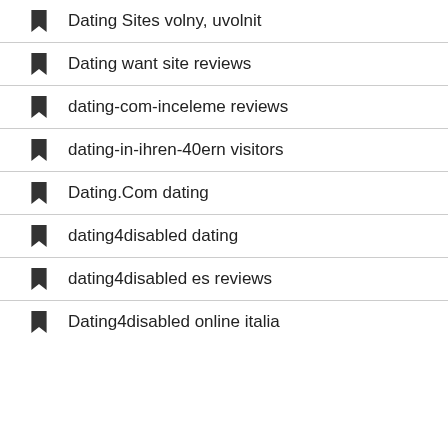Dating Sites volny, uvolnit
Dating want site reviews
dating-com-inceleme reviews
dating-in-ihren-40ern visitors
Dating.Com dating
dating4disabled dating
dating4disabled es reviews
Dating4disabled online italia